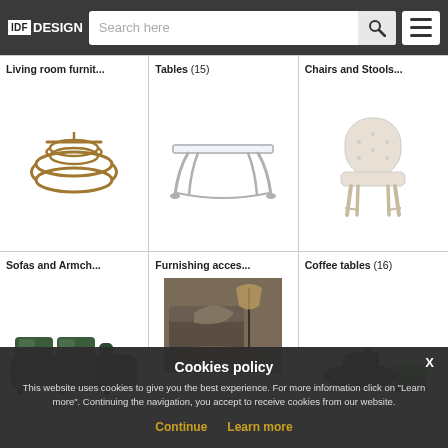IDF DESIGN — Search here
[Figure (screenshot): Website category grid showing furniture categories: Living room furnit..., Tables (15), Chairs and Stools..., Sofas and Armch..., Furnishing acces..., Coffee tables (16)]
Living room furnit...
Tables (15)
Chairs and Stools...
Sofas and Armch...
Furnishing acces...
Coffee tables (16)
Cookies policy
This website uses cookies to give you the best experience. For more information click on "Learn more". Continuing the navigation, you accept to receive cookies from our website.
Continue  Learn more
PRODUCTS